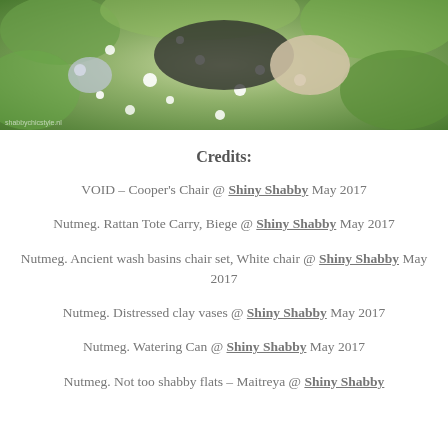[Figure (photo): Overhead view of a person in black clothing sitting among white flowers with a knitted bag, outdoors in green foliage]
Credits:
VOID – Cooper's Chair @ Shiny Shabby May 2017
Nutmeg. Rattan Tote Carry, Biege @ Shiny Shabby May 2017
Nutmeg. Ancient wash basins chair set, White chair @ Shiny Shabby May 2017
Nutmeg. Distressed clay vases @ Shiny Shabby May 2017
Nutmeg. Watering Can @ Shiny Shabby May 2017
Nutmeg. Not too shabby flats – Maitreya @ Shiny Shabby